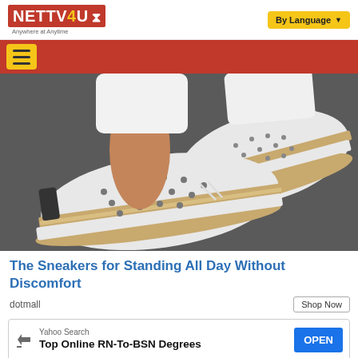NETTV4U Anywhere at Anytime | By Language
[Figure (photo): Close-up photo of a person wearing white perforated slip-on sneakers with cork and rope soles, standing on a dark ground. White pants visible above the ankles.]
The Sneakers for Standing All Day Without Discomfort
dotmall
Shop Now
[Figure (screenshot): Yahoo Search ad banner: 'Top Online RN-To-BSN Degrees' with an OPEN button in blue.]